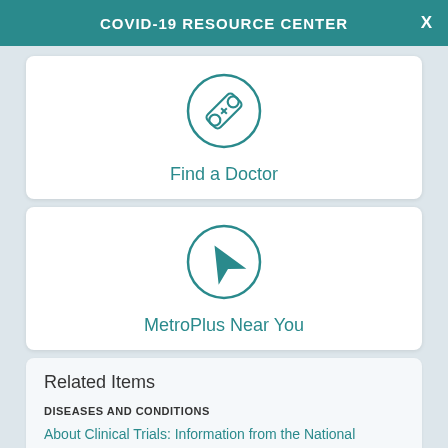COVID-19 RESOURCE CENTER
[Figure (illustration): Teal circle icon with bandage/first-aid cross symbol for Find a Doctor]
Find a Doctor
[Figure (illustration): Teal circle icon with navigation arrow symbol for MetroPlus Near You]
MetroPlus Near You
Related Items
DISEASES AND CONDITIONS
About Clinical Trials: Information from the National Cancer Institute
Achalasia